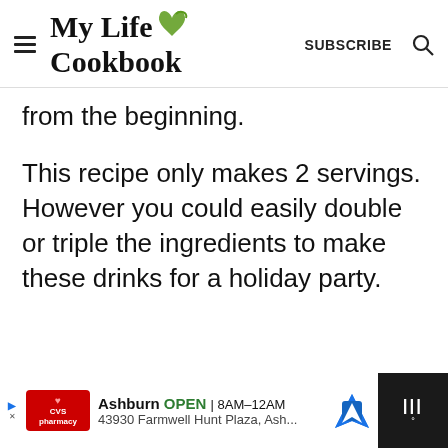My Life Cookbook | SUBSCRIBE
from the beginning.
This recipe only makes 2 servings. However you could easily double or triple the ingredients to make these drinks for a holiday party.
[Figure (screenshot): CVS Pharmacy advertisement bar showing: Ashburn OPEN 8AM-12AM, 43930 Farmwell Hunt Plaza, Ash...]
[Figure (other): Floating heart (favorite) button and share button on right side of page]